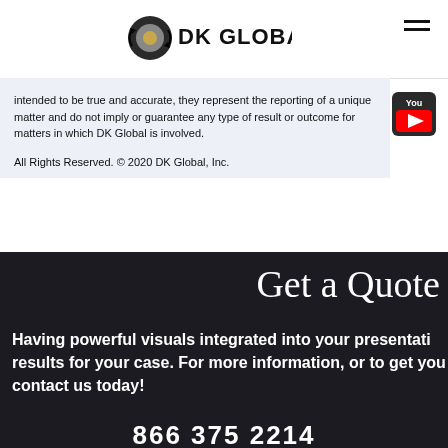DK GLOBAL
intended to be true and accurate, they represent the reporting of a unique matter and do not imply or guarantee any type of result or outcome for matters in which DK Global is involved.
All Rights Reserved. © 2020 DK Global, Inc.
[Figure (logo): YouTube logo icon]
Get a Quote
Having powerful visuals integrated into your presentation results for your case. For more information, or to get you contact us today!
866 375 2214